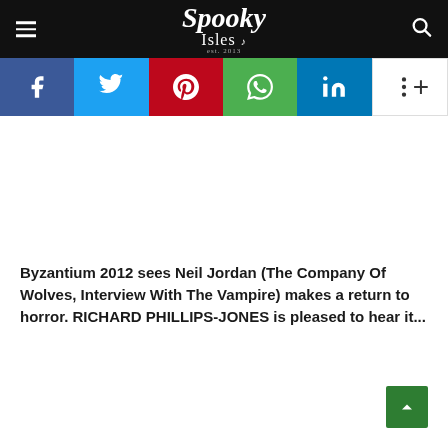Spooky Isles
[Figure (screenshot): Social sharing bar with Facebook, Twitter, Pinterest, WhatsApp, LinkedIn, and more buttons]
Byzantium 2012 sees Neil Jordan (The Company Of Wolves, Interview With The Vampire) makes a return to horror. RICHARD PHILLIPS-JONES is pleased to hear it...